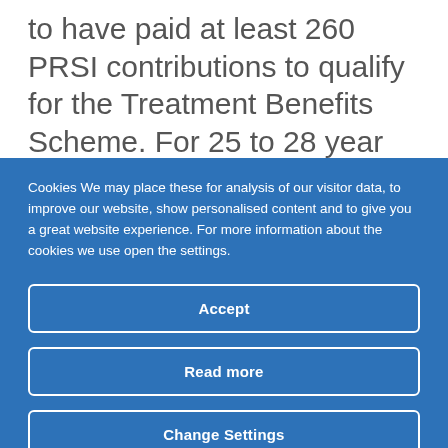to have paid at least 260 PRSI contributions to qualify for the Treatment Benefits Scheme. For 25 to 28 year olds, this threshold is being
Cookies We may place these for analysis of our visitor data, to improve our website, show personalised content and to give you a great website experience. For more information about the cookies we use open the settings.
Accept
Read more
Change Settings